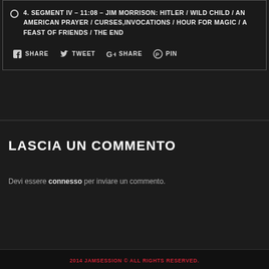4. SEGMENT IV – 11:08 – JIM MORRISON: HITLER / WILD CHILD / AN AMERICAN PRAYER / CURSES,INVOCATIONS / HOUR FOR MAGIC / A FEAST OF FRIENDS / THE END
SHARE  TWEET  SHARE  PIN
LASCIA UN COMMENTO
Devi essere connesso per inviare un commento.
2014 JAMSESSION © ALL RIGHTS RESERVED.